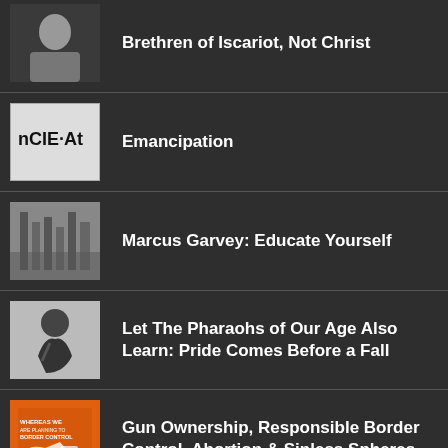Brethren of Iscariot, Not Christ
Emancipation
Marcus Garvey: Educate Yourself
Let The Pharaohs of Our Age Also Learn: Pride Comes Before a Fall
Gun Ownership, Responsible Border Control, Abortion & Sinless Spheres